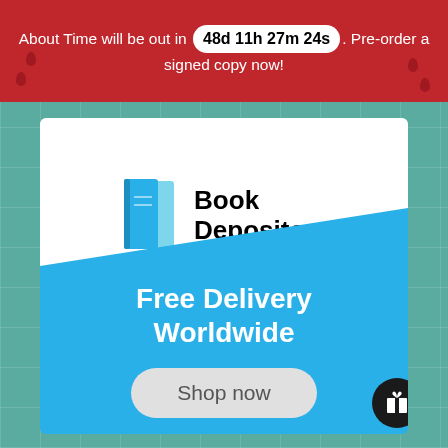About Time will be out in 48d 11h 27m 24s. Pre-order a signed copy now!
[Figure (logo): Book Depository logo with teal book icon and bold black text reading 'Book Depository', set on a white background with a blue diagonal lower section reading 'Free Delivery Worldwide' and a grey 'Shop now' button]